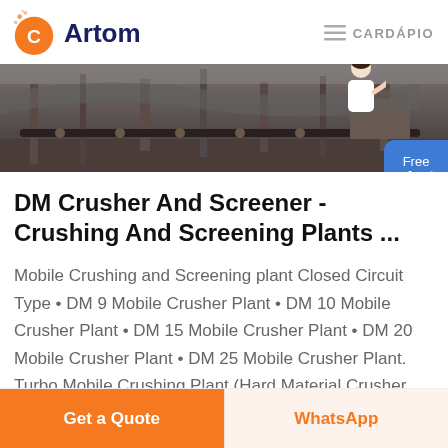Artom | CARDÁPIO
[Figure (photo): Industrial crushing/screening plant machinery with conveyor belts and steel structure, photographed outdoors]
DM Crusher And Screener - Crushing And Screening Plants ...
Mobile Crushing and Screening plant Closed Circuit Type • DM 9 Mobile Crusher Plant • DM 10 Mobile Crusher Plant • DM 15 Mobile Crusher Plant • DM 20 Mobile Crusher Plant • DM 25 Mobile Crusher Plant. Turbo Mobile Crushing Plant (Hard Material Crusher Plant) • DM Turbo 600 Hard Materiel Crusher Plant • ...